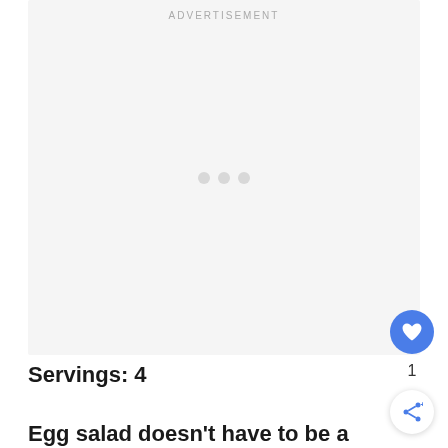[Figure (other): Advertisement placeholder box with 'ADVERTISEMENT' label at top and three loading dots in center]
Servings: 4
Egg salad doesn't have to be a calorie-dense